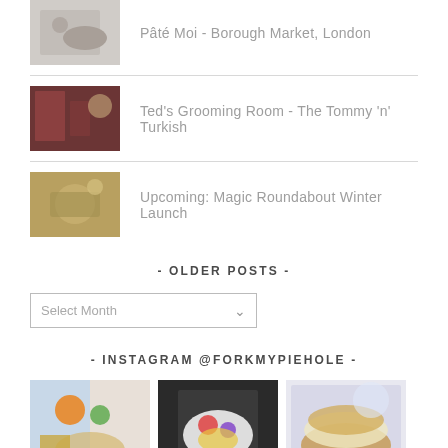Pâté Moi - Borough Market, London
Ted's Grooming Room - The Tommy 'n' Turkish
Upcoming: Magic Roundabout Winter Launch
- OLDER POSTS -
Select Month
- INSTAGRAM @FORKMYPIEHOLE -
[Figure (photo): Three Instagram food/lifestyle photos in a row]
[Figure (photo): Middle Instagram food photo with colorful salad]
[Figure (photo): Right Instagram burger photo]